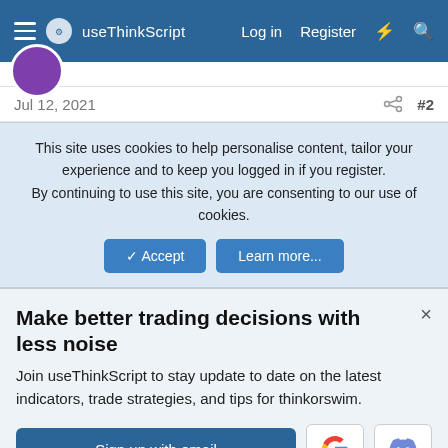useThinkScript  Log in  Register
Jul 12, 2021  #2
This site uses cookies to help personalise content, tailor your experience and to keep you logged in if you register.
By continuing to use this site, you are consenting to our use of cookies.
Accept  Learn more...
Make better trading decisions with less noise
Join useThinkScript to stay update to date on the latest indicators, trade strategies, and tips for thinkorswim.
Sign up with email